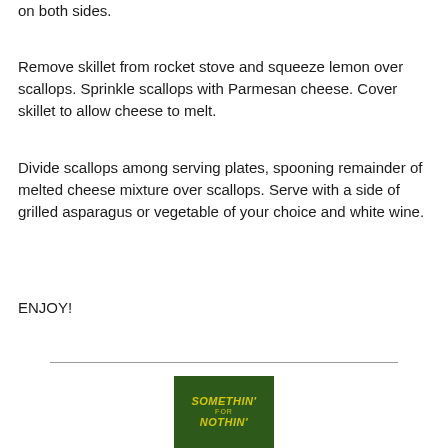on both sides.
Remove skillet from rocket stove and squeeze lemon over scallops. Sprinkle scallops with Parmesan cheese. Cover skillet to allow cheese to melt.
Divide scallops among serving plates, spooning remainder of melted cheese mixture over scallops. Serve with a side of grilled asparagus or vegetable of your choice and white wine.
ENJOY!
[Figure (logo): Somethin' for Nothin' logo — dark green background with yellow italic text]